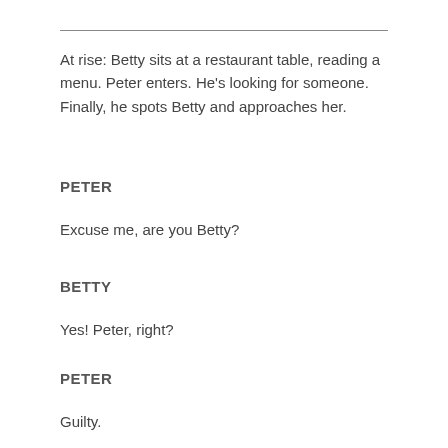At rise: Betty sits at a restaurant table, reading a menu. Peter enters. He's looking for someone. Finally, he spots Betty and approaches her.
PETER
Excuse me, are you Betty?
BETTY
Yes! Peter, right?
PETER
Guilty.